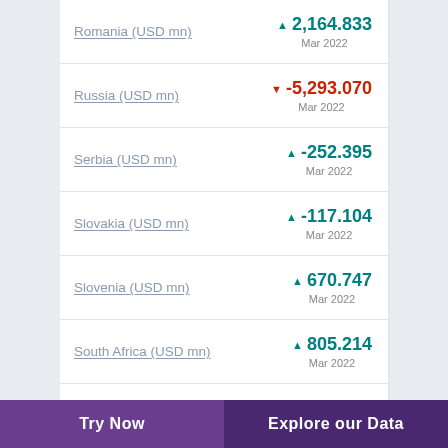Romania (USD mn) ▲ 2,164.833 Mar 2022
Russia (USD mn) ▼ -5,293.070 Mar 2022
Serbia (USD mn) ▲ -252.395 Mar 2022
Slovakia (USD mn) ▲ -117.104 Mar 2022
Slovenia (USD mn) ▲ 670.747 Mar 2022
South Africa (USD mn) ▲ 805.214 Mar 2022
Try Now  |  Explore our Data